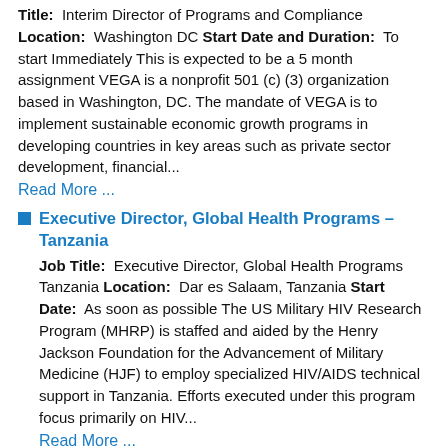Title: Interim Director of Programs and Compliance Location: Washington DC Start Date and Duration: To start Immediately This is expected to be a 5 month assignment VEGA is a nonprofit 501 (c) (3) organization based in Washington, DC. The mandate of VEGA is to implement sustainable economic growth programs in developing countries in key areas such as private sector development, financial...
Read More ...
Executive Director, Global Health Programs – Tanzania
Job Title: Executive Director, Global Health Programs Tanzania Location: Dar es Salaam, Tanzania Start Date: As soon as possible The US Military HIV Research Program (MHRP) is staffed and aided by the Henry Jackson Foundation for the Advancement of Military Medicine (HJF) to employ specialized HIV/AIDS technical support in Tanzania. Efforts executed under this program focus primarily on HIV...
Read More ...
Director of Research and Learning